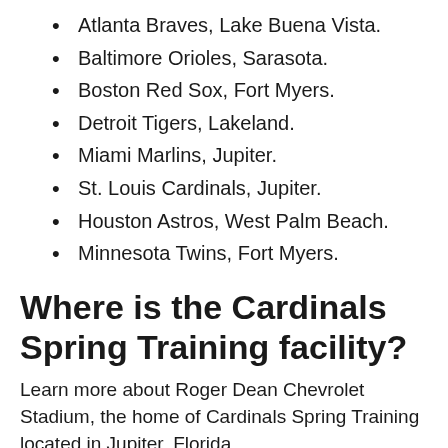Atlanta Braves, Lake Buena Vista.
Baltimore Orioles, Sarasota.
Boston Red Sox, Fort Myers.
Detroit Tigers, Lakeland.
Miami Marlins, Jupiter.
St. Louis Cardinals, Jupiter.
Houston Astros, West Palm Beach.
Minnesota Twins, Fort Myers.
Where is the Cardinals Spring Training facility?
Learn more about Roger Dean Chevrolet Stadium, the home of Cardinals Spring Training located in Jupiter, Florida.
Where is MLB Spring